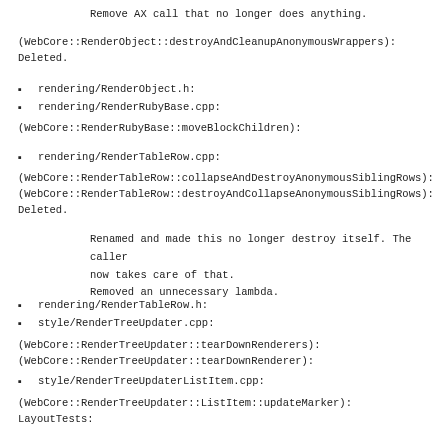Remove AX call that no longer does anything.
(WebCore::RenderObject::destroyAndCleanupAnonymousWrappers): Deleted.
rendering/RenderObject.h:
rendering/RenderRubyBase.cpp:
(WebCore::RenderRubyBase::moveBlockChildren):
rendering/RenderTableRow.cpp:
(WebCore::RenderTableRow::collapseAndDestroyAnonymousSiblingRows): (WebCore::RenderTableRow::destroyAndCollapseAnonymousSiblingRows): Deleted.
Renamed and made this no longer destroy itself. The caller now takes care of that.
Removed an unnecessary lambda.
rendering/RenderTableRow.h:
style/RenderTreeUpdater.cpp:
(WebCore::RenderTreeUpdater::tearDownRenderers): (WebCore::RenderTreeUpdater::tearDownRenderer):
style/RenderTreeUpdaterListItem.cpp:
(WebCore::RenderTreeUpdater::ListItem::updateMarker): LayoutTests: